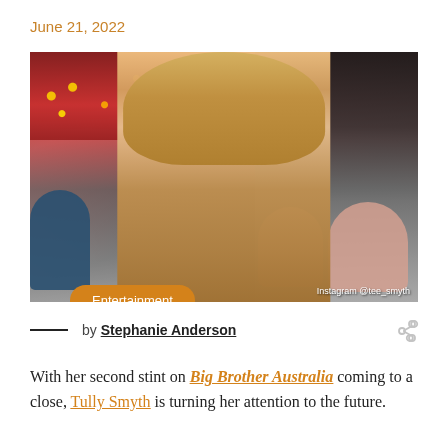June 21, 2022
[Figure (photo): Young blonde woman sitting in a colorful bar/restaurant, holding a glass, wearing a beige sweater. Decorated with fairy lights and neon signs in the background, pink velvet chairs on the right and blue chairs on the left. Instagram credit: @tee_smyth. An orange 'Entertainment' badge overlays the bottom-left of the photo.]
by Stephanie Anderson
With her second stint on Big Brother Australia coming to a close, Tully Smyth is turning her attention to the future.